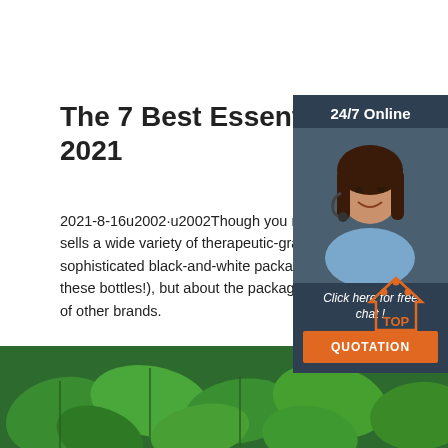The 7 Best Essential Oil Brands of 2021
2021-8-16u2002·u2002Though you might know their diffusers, the brand also sells a wide variety of therapeutic-grade essential oils. Their highly des sophisticated black-and-white packaging looks g the counter (no need to stash these bottles!), but about the packaging here—Vitruvi's commitment rivals that of other brands.
Get Price
[Figure (infographic): Customer service sidebar with '24/7 Online' heading, photo of a smiling woman with headset, 'Click here for free chat!' text, and orange QUOTATION button]
[Figure (illustration): TOP icon with orange dots and house shape above the text TOP]
[Figure (photo): Green mint leaves filling the bottom portion of the page]